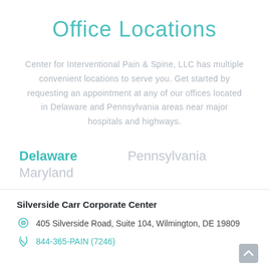Office Locations
Center for Interventional Pain & Spine, LLC has multiple convenient locations to serve you. Get started by requesting an appointment at any of our offices located in Delaware and Pennsylvania areas near major hospitals and highways.
Delaware   Pennsylvania
Maryland
Silverside Carr Corporate Center
405 Silverside Road, Suite 104, Wilmington, DE 19809
844-365-PAIN (7246)